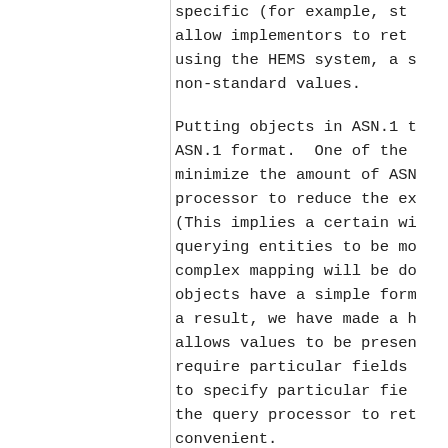specific (for example, st... allow implementors to ret... using the HEMS system, a s... non-standard values.
Putting objects in ASN.1 t... ASN.1 format.  One of the... minimize the amount of ASN... processor to reduce the ex... (This implies a certain wi... querying entities to be mo... complex mapping will be do... objects have a simple form... a result, we have made a h... allows values to be presen... require particular fields ... to specify particular fie... the query processor to ret... convenient.
In addition to ease the pr...